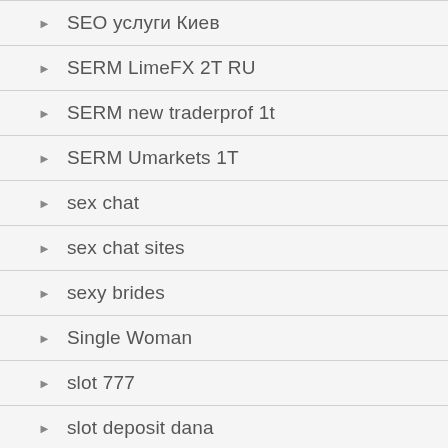SEO услуги Киев
SERM LimeFX 2T RU
SERM new traderprof 1t
SERM Umarkets 1T
sex chat
sex chat sites
sexy brides
Single Woman
slot 777
slot deposit dana